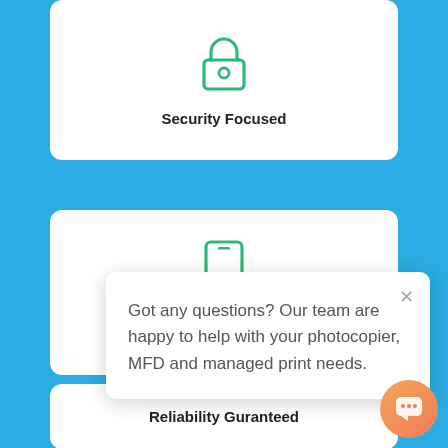[Figure (illustration): Green padlock icon]
Security Focused
[Figure (illustration): Green smartphone icon]
Mob[ile]
[Figure (illustration): Partial green icon (headset/support)]
Reliability Guranteed
Got any questions? Our team are happy to help with your photocopier, MFD and managed print needs.